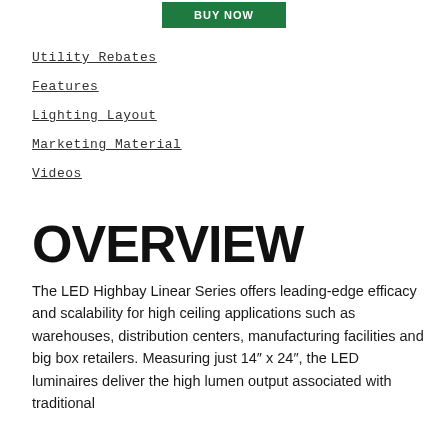[Figure (other): Green button partially visible at top of page]
Utility Rebates
Features
Lighting Layout
Marketing Material
Videos
OVERVIEW
The LED Highbay Linear Series offers leading-edge efficacy and scalability for high ceiling applications such as warehouses, distribution centers, manufacturing facilities and big box retailers. Measuring just 14″ x 24″, the LED luminaires deliver the high lumen output associated with traditional